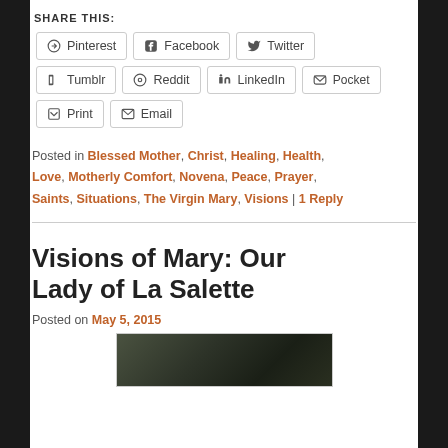SHARE THIS:
Pinterest  Facebook  Twitter  Tumblr  Reddit  LinkedIn  Pocket  Print  Email
Posted in Blessed Mother, Christ, Healing, Health, Love, Motherly Comfort, Novena, Peace, Prayer, Saints, Situations, The Virgin Mary, Visions | 1 Reply
Visions of Mary: Our Lady of La Salette
Posted on May 5, 2015
[Figure (photo): A dark nature photo, partially visible at bottom of page]